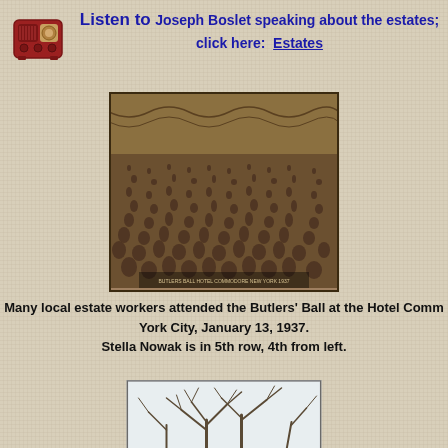[Figure (illustration): Red vintage radio icon]
Listen to Joseph Boslet speaking about the estates; click here: Estates
[Figure (photo): Sepia photograph of a large crowd of local estate workers at the Butlers' Ball at the Hotel Commodore, New York City, January 13, 1937. Stella Nowak is in 5th row, 4th from left.]
Many local estate workers attended the Butlers' Ball at the Hotel Commodore, New York City, January 13, 1937.
Stella Nowak is in 5th row, 4th from left.
[Figure (photo): Partial photo of bare tree branches against a light sky, partially visible at bottom of page.]